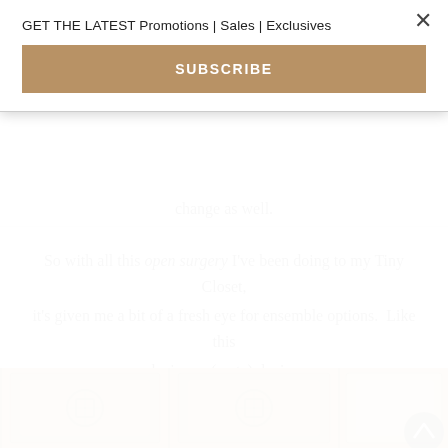GET THE LATEST Promotions | Sales | Exclusives
SUBSCRIBE
change as well.
So with all this open surgery I've been doing to my Tiny Closet, it's given me a bit of a fresh eye for ensemble options.  Like this denim on (sorta) denim.
Definitely a Summer (and Spring and even Fall) keeper!
[Figure (photo): Decorative carved stone or ceramic tile panel with ornate cross and scroll relief patterns in tan/beige tones.]